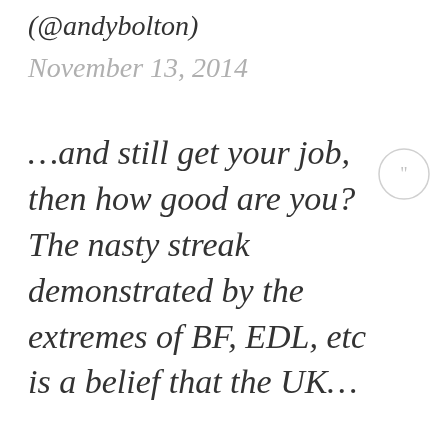(@andybolton)
November 13, 2014
…and still get your job, then how good are you? The nasty streak demonstrated by the extremes of BF, EDL, etc is a belief that the UK…